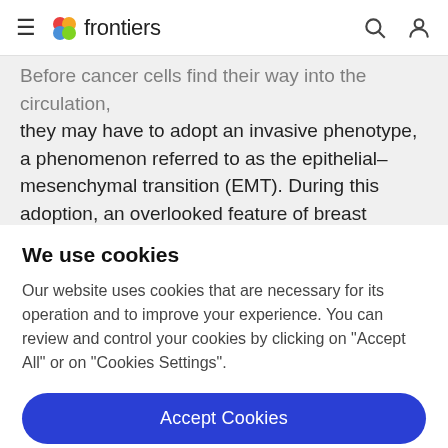frontiers
Before cancer cells find their way into the circulation, they may have to adopt an invasive phenotype, a phenomenon referred to as the epithelial–mesenchymal transition (EMT). During this adoption, an overlooked feature of breast tumors is the biological significance of
We use cookies
Our website uses cookies that are necessary for its operation and to improve your experience. You can review and control your cookies by clicking on "Accept All" or on "Cookies Settings".
Accept Cookies
Cookies Settings